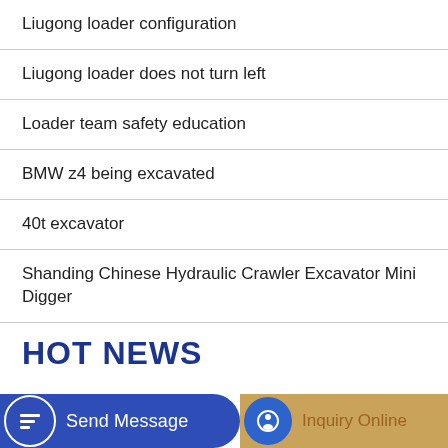Liugong loader configuration
Liugong loader does not turn left
Loader team safety education
BMW z4 being excavated
40t excavator
Shanding Chinese Hydraulic Crawler Excavator Mini Digger
HOT NEWS
Loader is slow to combine
Doosan Dx300LC Used Crawler Digger Excavator